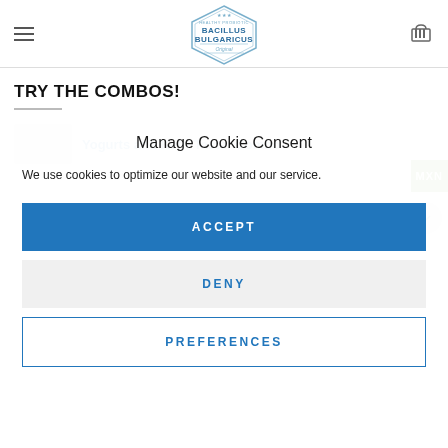[Figure (logo): Bacillus Bulgaricus hexagonal logo with stars and text 'HEALTHY PROBIOTIC BACILLUS BULGARICUS Original']
TRY THE COMBOS!
Yogurts and Kefir Taster Combo
Manage Cookie Consent
We use cookies to optimize our website and our service.
ACCEPT
DENY
PREFERENCES